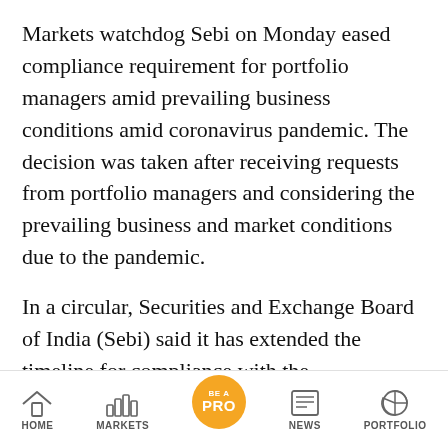Markets watchdog Sebi on Monday eased compliance requirement for portfolio managers amid prevailing business conditions amid coronavirus pandemic. The decision was taken after receiving requests from portfolio managers and considering the prevailing business and market conditions due to the pandemic.
In a circular, Securities and Exchange Board of India (Sebi) said it has extended the timeline for compliance with the requirements of portfolio managers guideline regarding upfront fee, among others, by further three months till October 1, 2020.
HOME | MARKETS | BE A PRO | NEWS | PORTFOLIO